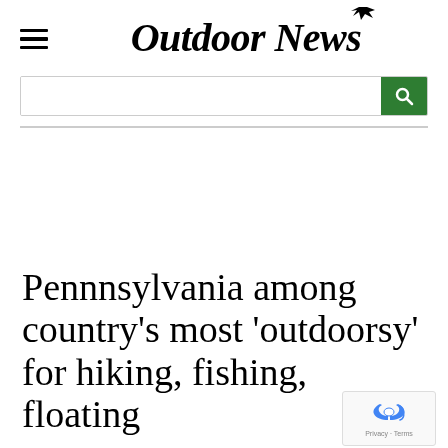Outdoor News
Pennnsylvania among country's most 'outdoorsy' for hiking, fishing, floating